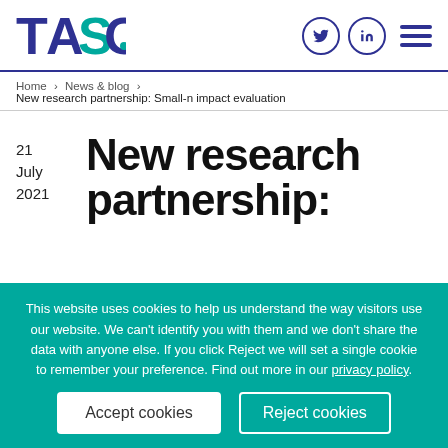TASO
Home > News & blog > New research partnership: Small-n impact evaluation
21 July 2021
New research partnership:
This website uses cookies to help us understand the way visitors use our website. We can't identify you with them and we don't share the data with anyone else. If you click Reject we will set a single cookie to remember your preference. Find out more in our privacy policy.